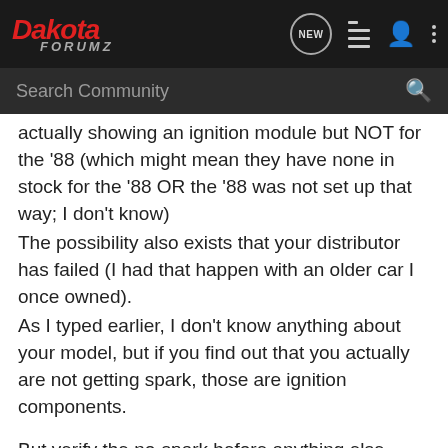[Figure (screenshot): Dakota ForumZ navigation bar with logo, NEW chat icon, list icon, user icon, and three-dot menu]
[Figure (screenshot): Search Community search bar with magnifying glass icon]
actually showing an ignition module but NOT for the '88 (which might mean they have none in stock for the '88 OR the '88 was not set up that way; I don't know)
The possibility also exists that your distributor has failed (I had that happen with an older car I once owned).
As I typed earlier, I don't know anything about your model, but if you find out that you actually are not getting spark, those are ignition components.

But verify the no-spark before anything else.
tristangooden397 · Registered
Joined May 23, 2022 · 2 Posts